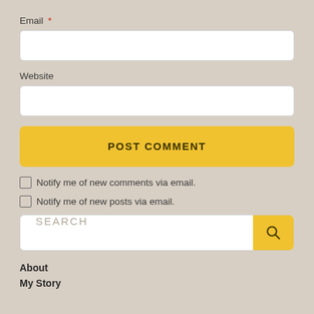Email *
[Figure (other): Empty email input text box]
Website
[Figure (other): Empty website input text box]
POST COMMENT
Notify me of new comments via email.
Notify me of new posts via email.
[Figure (other): Search bar with SEARCH placeholder and yellow search button with magnifying glass icon]
About
My Story